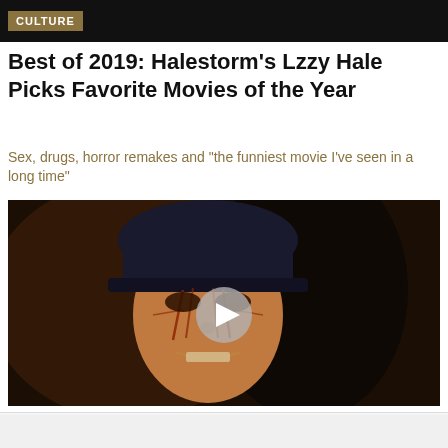CULTURE
Best of 2019: Halestorm's Lzzy Hale Picks Favorite Movies of the Year
Sex, drugs, horror remakes and "the funniest movie I've seen in a long time"
[Figure (photo): Video thumbnail showing a person with face makeup and tattoos wearing a dark cap, with a play button overlay. Appears to be a horror/metal themed image.]
[Figure (screenshot): Advertisement for Tally app: 'Fast credit card payoff' with a green Download Now button and close/help icons.]